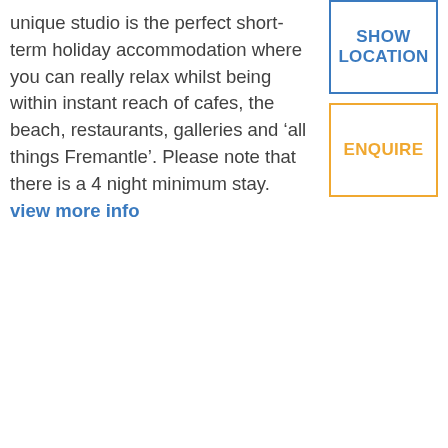unique studio is the perfect short-term holiday accommodation where you can really relax whilst being within instant reach of cafes, the beach, restaurants, galleries and ‘all things Fremantle’. Please note that there is a 4 night minimum stay. view more info
SHOW LOCATION
ENQUIRE